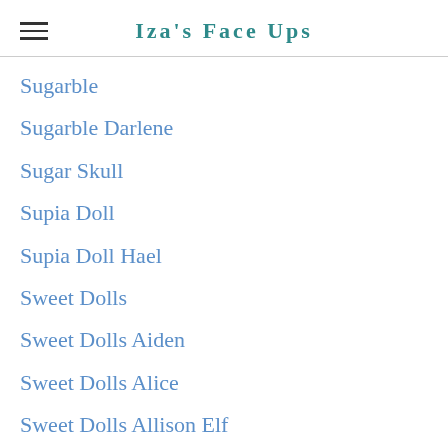Iza's Face Ups
Sugarble
Sugarble Darlene
Sugar Skull
Supia Doll
Supia Doll Hael
Sweet Dolls
Sweet Dolls Aiden
Sweet Dolls Alice
Sweet Dolls Allison Elf
Sweet Dolls Fairy Alexa
Switch Doll
Switch Doll Shiho
Tail
Tan
Tattoo
Teenie Gem
Telesthesia Doll